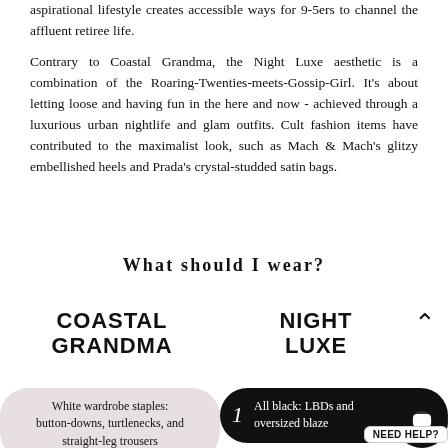aspirational lifestyle creates accessible ways for 9-5ers to channel the affluent retiree life.
Contrary to Coastal Grandma, the Night Luxe aesthetic is a combination of the Roaring-Twenties-meets-Gossip-Girl. It's about letting loose and having fun in the here and now - achieved through a luxurious urban nightlife and glam outfits. Cult fashion items have contributed to the maximalist look, such as Mach & Mach's glitzy embellished heels and Prada's crystal-studded satin bags.
What should I wear?
COASTAL GRANDMA
NIGHT LUXE
White wardrobe staples: button-downs, turtlenecks, and straight-leg trousers
1 All black: LBDs and oversized blaze
NEED HELP?